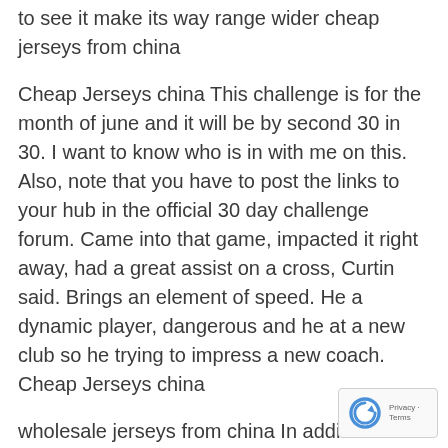to see it make its way range wider cheap jerseys from china
Cheap Jerseys china This challenge is for the month of june and it will be by second 30 in 30. I want to know who is in with me on this. Also, note that you have to post the links to your hub in the official 30 day challenge forum. Came into that game, impacted it right away, had a great assist on a cross, Curtin said. Brings an element of speed. He a dynamic player, dangerous and he at a new club so he trying to impress a new coach. Cheap Jerseys china
wholesale jerseys from china In addition to its high quality proteins and time release carbs, it also includes a concoction of over 60 bodybuilding nutrients. You don't have to buy every individual supplement out there because you can get the